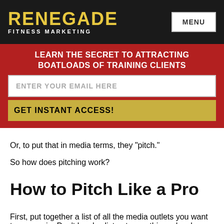RENEGADE FITNESS MARKETING | MENU
LEARN THE SECRET TO ATTRACTING BOATLOADS OF TRAINING CLIENTS
ENTER YOUR EMAIL HERE
GET INSTANT ACCESS!
Or, to put that in media terms, they "pitch."
So how does pitching work?
How to Pitch Like a Pro
First, put together a list of all the media outlets you want to appear in. Don't be shy, list out everything – local news, magazines, websites, podcasts, radio – you name it.
I should point out here that the most important thing to consider when choosing these outlets is your AUDIENCE. Picture your ideal client. What do they like to read, listen to? Use that to